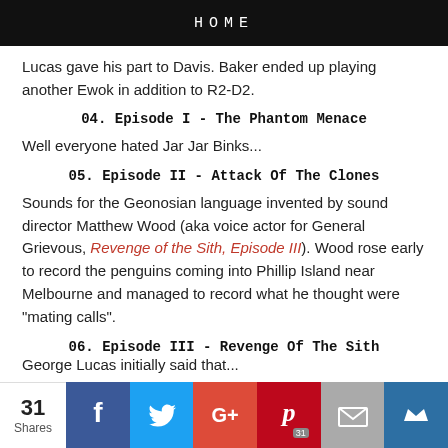HOME
Lucas gave his part to Davis. Baker ended up playing another Ewok in addition to R2-D2.
04. Episode I - The Phantom Menace
Well everyone hated Jar Jar Binks...
05. Episode II - Attack Of The Clones
Sounds for the Geonosian language invented by sound director Matthew Wood (aka voice actor for General Grievous, Revenge of the Sith, Episode III). Wood rose early to record the penguins coming into Phillip Island near Melbourne and managed to record what he thought were "mating calls".
06. Episode III - Revenge Of The Sith
George Lucas initially said that...